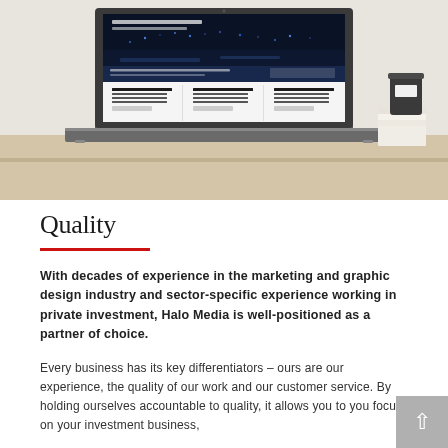[Figure (photo): A laptop on a wooden desk displaying a dark blue website with a cityscape at night. Behind the laptop are books and a dark cylindrical container. The website shows text about energy transition and has a three-column layout below the hero image.]
Quality
With decades of experience in the marketing and graphic design industry and sector-specific experience working in private investment, Halo Media is well-positioned as a partner of choice.
Every business has its key differentiators – ours are our experience, the quality of our work and our customer service. By holding ourselves accountable to quality, it allows you to you focus on your investment business,